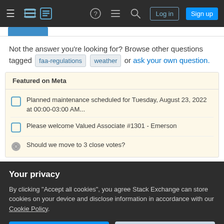Stack Exchange navigation bar with Log in and Sign up buttons
Not the answer you're looking for? Browse other questions tagged faa-regulations weather or ask your own question.
Featured on Meta
Planned maintenance scheduled for Tuesday, August 23, 2022 at 00:00-03:00 AM...
Please welcome Valued Associate #1301 - Emerson
Should we move to 3 close votes?
Your privacy
By clicking "Accept all cookies", you agree Stack Exchange can store cookies on your device and disclose information in accordance with our Cookie Policy.
Accept all cookies | Customize settings